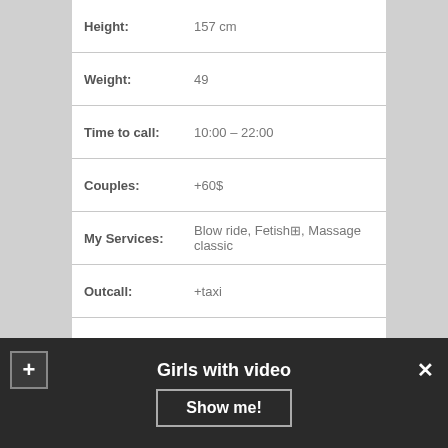| Field | Value |
| --- | --- |
| Height: | 157 cm |
| Weight: | 49 |
| Time to call: | 10:00 – 22:00 |
| Couples: | +60$ |
| My Services: | Blow ride, Fetish☒, Massage classic |
| Outcall: | +taxi |
| 60 min: | 160 |
| NIGHT: | 800$ |
| Ethnic: | Italian |
CONTACT
Girls with video
Show me!